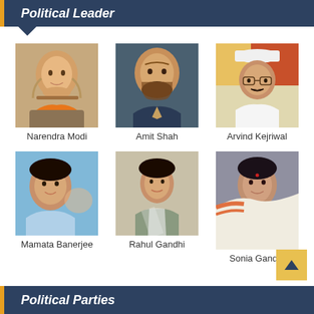Political Leader
[Figure (photo): Photo of Narendra Modi]
Narendra Modi
[Figure (photo): Photo of Amit Shah]
Amit Shah
[Figure (photo): Photo of Arvind Kejriwal]
Arvind Kejriwal
[Figure (photo): Photo of Mamata Banerjee]
Mamata Banerjee
[Figure (photo): Photo of Rahul Gandhi]
Rahul Gandhi
[Figure (photo): Photo of Sonia Gandhi]
Sonia Gandhi
Political Parties